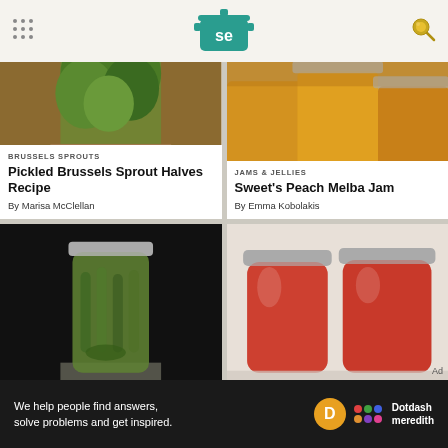[Figure (logo): Serious Eats logo — teal pot with SE letters]
[Figure (photo): Pickled Brussels sprouts in a glass jar on a wooden board]
BRUSSELS SPROUTS
Pickled Brussels Sprout Halves Recipe
By Marisa McClellan
[Figure (photo): Jars of peach jam with golden orange color]
JAMS & JELLIES
Sweet's Peach Melba Jam
By Emma Kobolakis
[Figure (photo): A jar of pickles with whole cucumbers and dill on a grey surface]
[Figure (photo): Two jars of red tomato jam/preserves on a white surface]
We help people find answers, solve problems and get inspired.